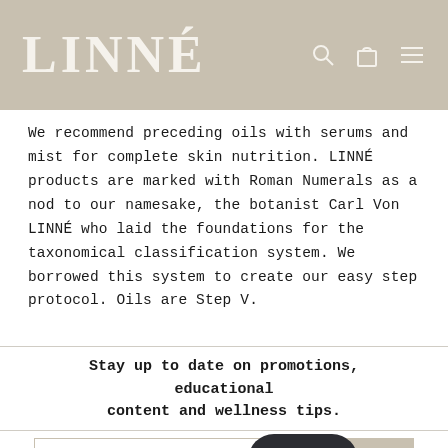LINNÉ
We recommend preceding oils with serums and mist for complete skin nutrition. LINNÉ products are marked with Roman Numerals as a nod to our namesake, the botanist Carl Von LINNÉ who laid the foundations for the taxonomical classification system. We borrowed this system to create our easy step protocol. Oils are Step V.
Stay up to date on promotions, educational content and wellness tips.
Enter your email